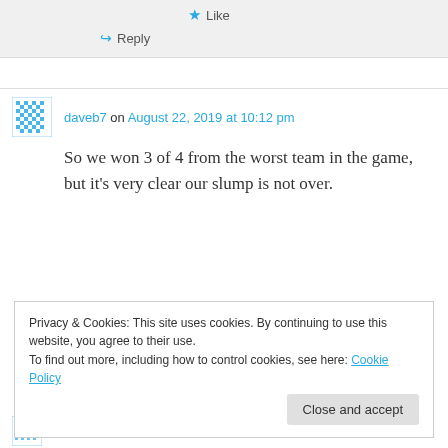★ Like
↳ Reply
daveb7 on August 22, 2019 at 10:12 pm
So we won 3 of 4 from the worst team in the game, but it's very clear our slump is not over.
Privacy & Cookies: This site uses cookies. By continuing to use this website, you agree to their use.
To find out more, including how to control cookies, see here: Cookie Policy
Close and accept